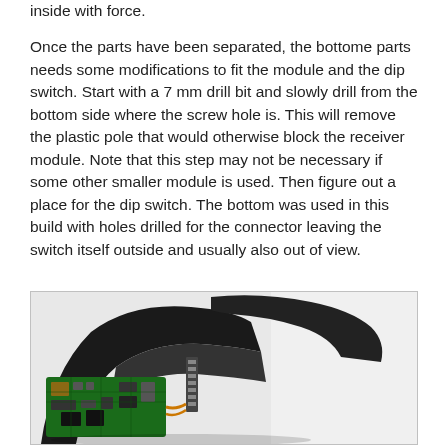inside with force.
Once the parts have been separated, the bottome parts needs some modifications to fit the module and the dip switch. Start with a 7 mm drill bit and slowly drill from the bottom side where the screw hole is. This will remove the plastic pole that would otherwise block the receiver module. Note that this step may not be necessary if some other smaller module is used. Then figure out a place for the dip switch. The bottom was used in this build with holes drilled for the connector leaving the switch itself outside and usually also out of view.
[Figure (photo): Photo of disassembled electronic device (likely a computer mouse) showing internal circuit board with green PCB and components visible, along with black plastic housing parts separated, photographed against a white/light background.]